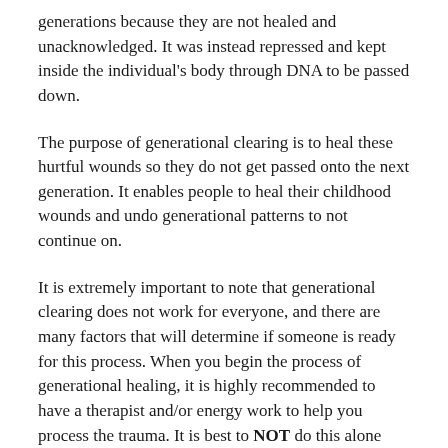generations because they are not healed and unacknowledged. It was instead repressed and kept inside the individual's body through DNA to be passed down.
The purpose of generational clearing is to heal these hurtful wounds so they do not get passed onto the next generation. It enables people to heal their childhood wounds and undo generational patterns to not continue on.
It is extremely important to note that generational clearing does not work for everyone, and there are many factors that will determine if someone is ready for this process. When you begin the process of generational healing, it is highly recommended to have a therapist and/or energy work to help you process the trauma. It is best to NOT do this alone starting off.